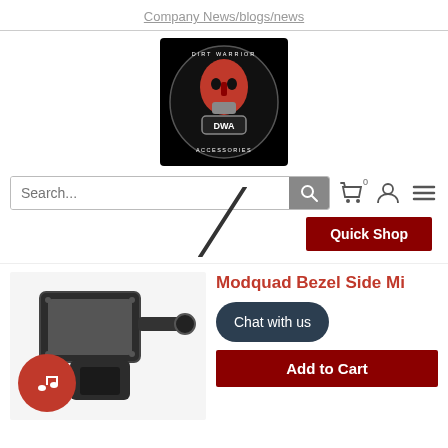Company News/blogs/news
[Figure (logo): Dirt Warrior Accessories logo — red spartan helmet on black background with DWA text]
[Figure (screenshot): Search bar with search icon, cart icon with badge 0, user icon, and hamburger menu icon]
Quick Shop
[Figure (photo): Modquad Bezel Side Mirror product photo with a music/audio red circular button overlay]
Modquad Bezel Side Mi...
Chat with us
Add to Cart